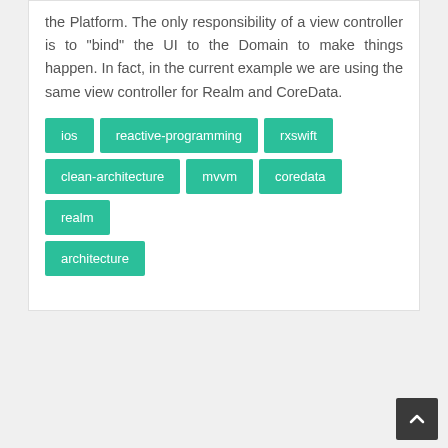the Platform. The only responsibility of a view controller is to "bind" the UI to the Domain to make things happen. In fact, in the current example we are using the same view controller for Realm and CoreData.
ios
reactive-programming
rxswift
clean-architecture
mvvm
coredata
realm
architecture